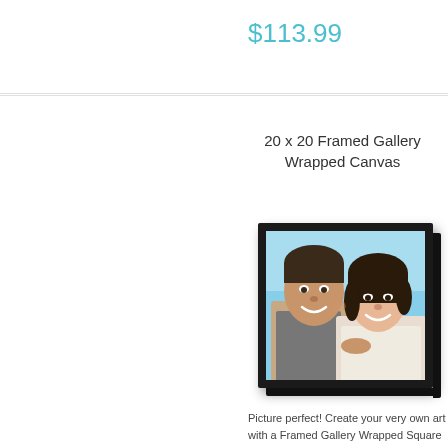$113.99
20 x 20 Framed Gallery Wrapped Canvas
[Figure (photo): A framed gallery wrapped canvas product photo showing a smiling couple (man and woman) against a blue sky background, displayed in a dark black frame with a shadow effect.]
Picture perfect! Create your very own art with a Framed Gallery Wrapped Square Canvas. Customize this beautiful 20 x 20 canvas with your best vacation shot, wedding photo, or family portrait.